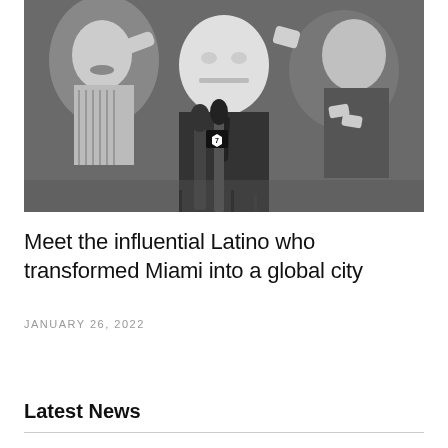[Figure (photo): Black and white photograph of a man at a press conference surrounded by people, with microphones in front of him. Someone is wiping his eye with a cloth. A Channel 7 microphone is visible.]
Meet the influential Latino who transformed Miami into a global city
JANUARY 26, 2022
Latest News